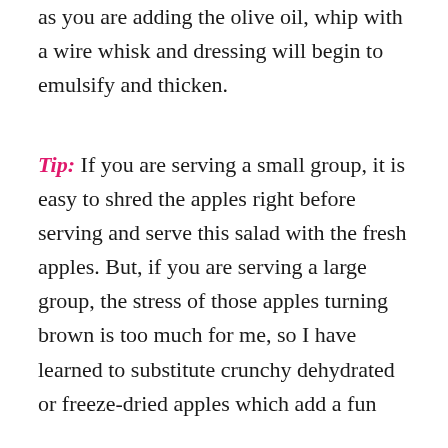as you are adding the olive oil, whip with a wire whisk and dressing will begin to emulsify and thicken.
Tip: If you are serving a small group, it is easy to shred the apples right before serving and serve this salad with the fresh apples. But, if you are serving a large group, the stress of those apples turning brown is too much for me, so I have learned to substitute crunchy dehydrated or freeze-dried apples which add a fun